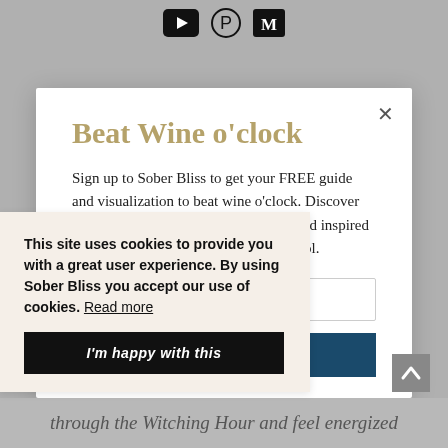[Social icons: YouTube, Pinterest, Medium]
Beat Wine o'clock
Sign up to Sober Bliss to get your FREE guide and visualization to beat wine o'clock. Discover inspiring ways to leave you renewed and inspired to finally live your life free from alcohol.
Email address
This site uses cookies to provide you with a great user experience. By using Sober Bliss you accept our use of cookies. Read more
I'm happy with this
through the Witching Hour and feel energized